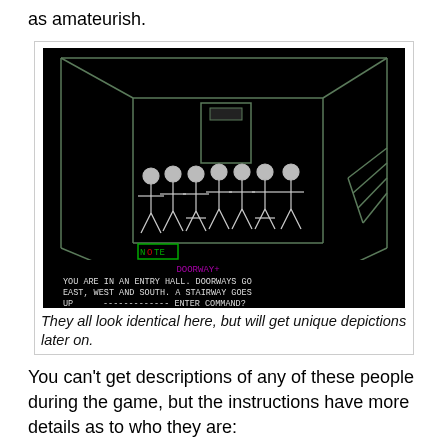as amateurish.
[Figure (screenshot): A retro computer game screenshot showing a black background room with 7 identical character sprites standing in a row. The room has green line-art walls, a door at the top, and stairs on the right. A 'NOTE' button is shown in green. Text at the bottom reads: 'DOORWAY+' and 'YOU ARE IN AN ENTRY HALL. DOORWAYS GO EAST, WEST AND SOUTH. A STAIRWAY GOES UP --- ENTER COMMAND?']
They all look identical here, but will get unique depictions later on.
You can't get descriptions of any of these people during the game, but the instructions have more details as to who they are:
Tom, a blond plumber
Sam, a brunette mechanic
Sally, a red-headed seamstress